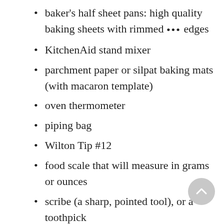baker's half sheet pans: high quality baking sheets with rimmed edges
KitchenAid stand mixer
parchment paper or silpat baking mats (with macaron template)
oven thermometer
piping bag
Wilton Tip #12
food scale that will measure in grams or ounces
scribe (a sharp, pointed tool), or a toothpick
digital minute timer
INGREDIENTS
160 grams egg whites, room